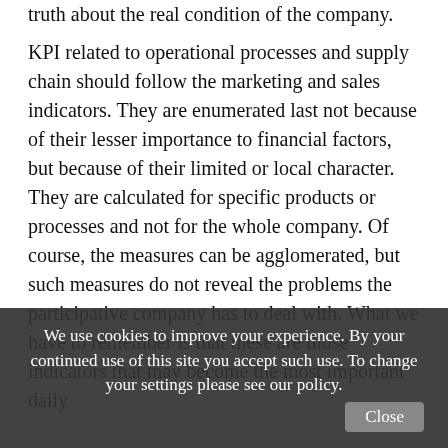truth about the real condition of the company.
KPI related to operational processes and supply chain should follow the marketing and sales indicators. They are enumerated last not because of their lesser importance to financial factors, but because of their limited or local character. They are calculated for specific products or processes and not for the whole company. Of course, the measures can be agglomerated, but such measures do not reveal the problems the participative company has to deal with. What we have to remember is that these are those indicators that may become the most important daily
We use cookies to improve your experience. By your continued use of this site you accept such use. To change your settings please see our policy.